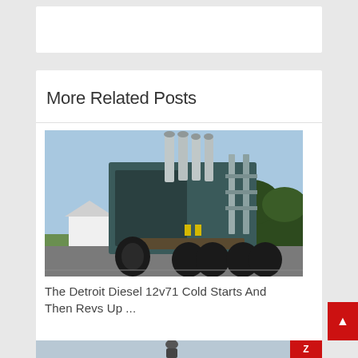[Figure (other): White advertisement/banner placeholder box]
More Related Posts
[Figure (photo): Rear view of a large semi truck (Detroit Diesel) without trailer, parked on a road with trees and open fields in the background. Multiple exhaust stacks visible.]
The Detroit Diesel 12v71 Cold Starts And Then Revs Up ...
[Figure (photo): Partial view of another related post image at the bottom of the page, showing a person and a red logo/badge]